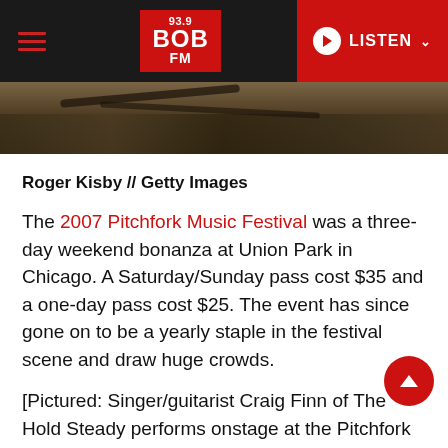93.9 BOB FM — LISTEN
[Figure (photo): Photo strip of a concert stage at the Pitchfork Music Festival showing cables and equipment on stage floor]
Roger Kisby // Getty Images
The 2007 Pitchfork Music Festival was a three-day weekend bonanza at Union Park in Chicago. A Saturday/Sunday pass cost $35 and a one-day pass cost $25. The event has since gone on to be a yearly staple in the festival scene and draw huge crowds.
[Pictured: Singer/guitarist Craig Finn of The Hold Steady performs onstage at the Pitchfork Music Festival at Union Park on July 19, 2008, in